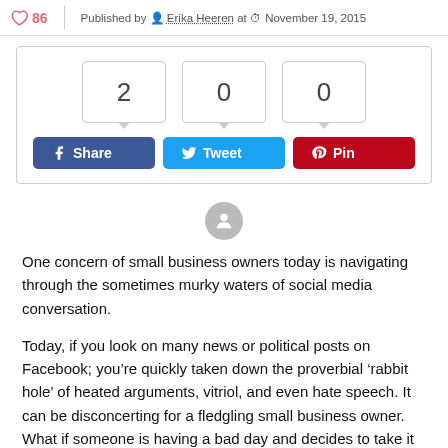86   Published by Erika Heeren at November 19, 2015
[Figure (infographic): Social share widget with count boxes showing 2, 0, 0 for Facebook Share, Tweet, and Pin buttons]
One concern of small business owners today is navigating through the sometimes murky waters of social media conversation.
Today, if you look on many news or political posts on Facebook; you’re quickly taken down the proverbial ‘rabbit hole’ of heated arguments, vitriol, and even hate speech. It can be disconcerting for a fledgling small business owner. What if someone is having a bad day and decides to take it out on your Facebook page?
Social media offers a certain amount of perceived